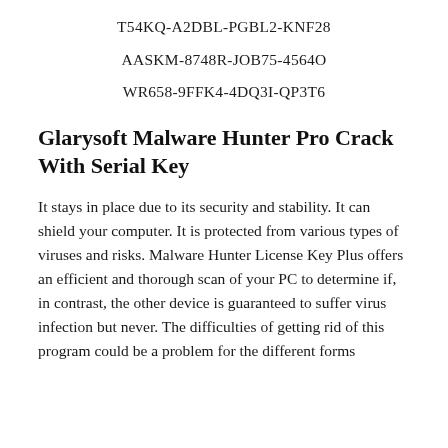T54KQ-A2DBL-PGBL2-KNF28
AASKM-8748R-JOB75-4564O
WR658-9FFK4-4DQ3I-QP3T6
Glarysoft Malware Hunter Pro Crack With Serial Key
It stays in place due to its security and stability. It can shield your computer. It is protected from various types of viruses and risks. Malware Hunter License Key Plus offers an efficient and thorough scan of your PC to determine if, in contrast, the other device is guaranteed to suffer virus infection but never. The difficulties of getting rid of this program could be a problem for the different forms